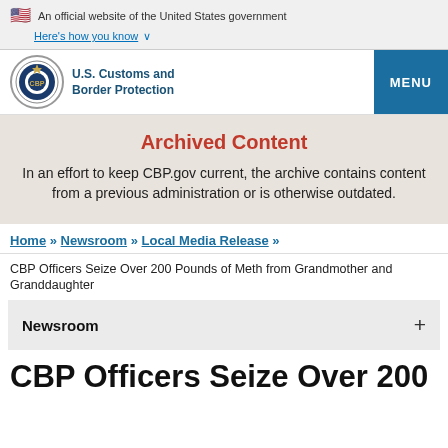An official website of the United States government
Here's how you know
[Figure (logo): U.S. Customs and Border Protection seal/logo with MENU button]
Archived Content
In an effort to keep CBP.gov current, the archive contains content from a previous administration or is otherwise outdated.
Home » Newsroom » Local Media Release »
CBP Officers Seize Over 200 Pounds of Meth from Grandmother and Granddaughter
Newsroom
CBP Officers Seize Over 200